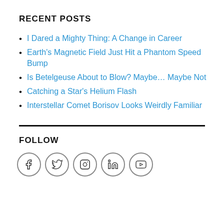RECENT POSTS
I Dared a Mighty Thing: A Change in Career
Earth's Magnetic Field Just Hit a Phantom Speed Bump
Is Betelgeuse About to Blow? Maybe… Maybe Not
Catching a Star's Helium Flash
Interstellar Comet Borisov Looks Weirdly Familiar
FOLLOW
[Figure (illustration): Row of 5 social media icon circles: Facebook, Twitter, Instagram, LinkedIn, YouTube]